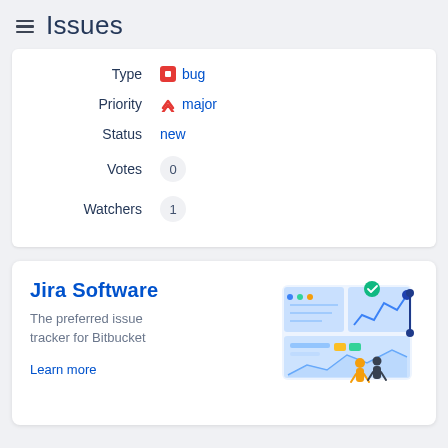Issues
| Label | Value |
| --- | --- |
| Type | bug |
| Priority | major |
| Status | new |
| Votes | 0 |
| Watchers | 1 |
[Figure (infographic): Jira Software promotional card with illustration showing a dashboard with charts, two people, and connected data points. Title: Jira Software. Description: The preferred issue tracker for Bitbucket. Link: Learn more.]